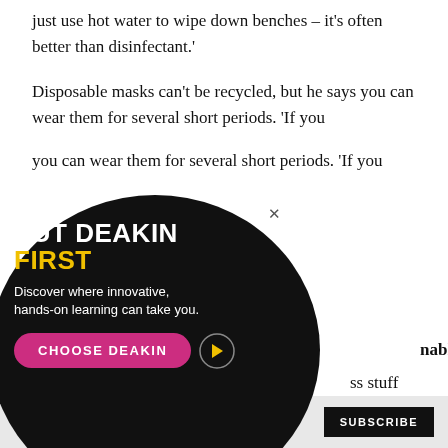just use hot water to wipe down benches – it's often better than disinfectant.'
Disposable masks can't be recycled, but he says you can wear them for several short periods. 'If you ve only worn it for 10 throw it away and get
[Figure (infographic): Deakin University advertisement overlay with dark circular background. Text reads: PUT DEAKIN FIRST. Discover where innovative, hands-on learning can take you. Button: CHOOSE DEAKIN with yellow arrow.]
hable? ss stuff reduces the e first place. 'The preferred approach to waste management is avoidance,' Dr Thornton says.
DON'T MISS OUT ON  this.  SUBSCRIBE